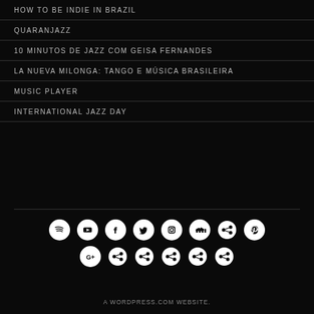HOW TO BE INDIE IN BRAZIL
QUARANJAZZ
10 MINUTOS DE JAZZ COM GEISA FERNANDES
LA NUEVA MILONGA: TANGO E MÚSICA BRASILEIRA
MUSIC PLAYER
INTERNATIONAL JAZZ DAY
[Figure (infographic): Two rows of social media share icons: Spotify, YouTube, Facebook, Twitter, Instagram, SoundCloud, Share, Pinterest in row 1; Google+, Share, Share, Share, Share, Share in row 2]
A WORDPRESS.COM WEBSITE.